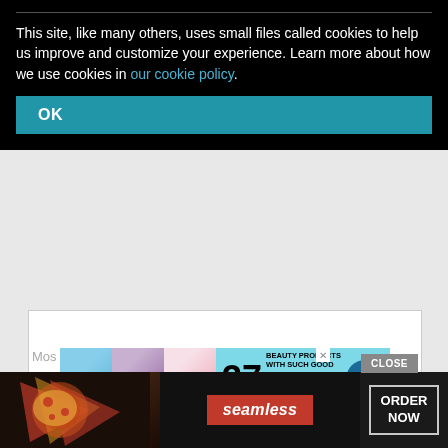This site, like many others, uses small files called cookies to help us improve and customize your experience. Learn more about how we use cookies in our cookie policy.
[Figure (screenshot): Advertisement banner: '37 BEAUTY PRODUCTS WITH SUCH GOOD REVIEWS YOU MIGHT WANT TO TRY THEM YOURSELF' from 22 Words, with product images on a teal background]
[Figure (screenshot): Bottom advertisement for Seamless food delivery showing pizza image, Seamless logo, and ORDER NOW button with CLOSE button]
Mos